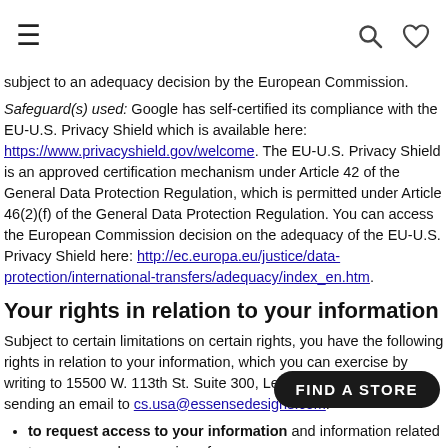Navigation header with hamburger menu, search icon, and favorites icon
subject to an adequacy decision by the European Commission.
Safeguard(s) used: Google has self-certified its compliance with the EU-U.S. Privacy Shield which is available here: https://www.privacyshield.gov/welcome. The EU-U.S. Privacy Shield is an approved certification mechanism under Article 42 of the General Data Protection Regulation, which is permitted under Article 46(2)(f) of the General Data Protection Regulation. You can access the European Commission decision on the adequacy of the EU-U.S. Privacy Shield here: http://ec.europa.eu/justice/data-protection/international-transfers/adequacy/index_en.htm.
Your rights in relation to your information
Subject to certain limitations on certain rights, you have the following rights in relation to your information, which you can exercise by writing to 15500 W. 113th St. Suite 300, Lenexa, KS. 66219, or sending an email to cs.usa@essensedesigns.com:
to request access to your information and information related to our use and processing of you
to request the correction or deletion o
to request that we restrict our use of your information;